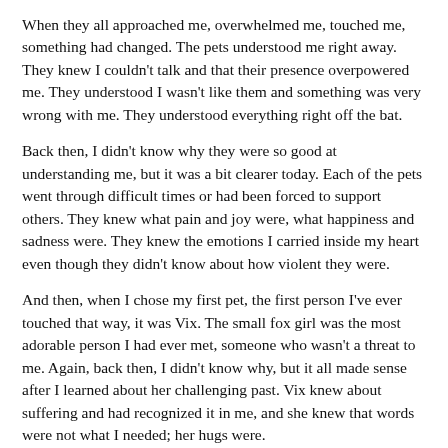When they all approached me, overwhelmed me, touched me, something had changed. The pets understood me right away. They knew I couldn't talk and that their presence overpowered me. They understood I wasn't like them and something was very wrong with me. They understood everything right off the bat.
Back then, I didn't know why they were so good at understanding me, but it was a bit clearer today. Each of the pets went through difficult times or had been forced to support others. They knew what pain and joy were, what happiness and sadness were. They knew the emotions I carried inside my heart even though they didn't know about how violent they were.
And then, when I chose my first pet, the first person I've ever touched that way, it was Vix. The small fox girl was the most adorable person I had ever met, someone who wasn't a threat to me. Again, back then, I didn't know why, but it all made sense after I learned about her challenging past. Vix knew about suffering and had recognized it in me, and she knew that words were not what I needed; her hugs were.
Time had restarted to run differently after that day. I couldn't be more grateful for it. Here in the grass field, next to her, I really felt like she was one of my best friends.
"Vix, I lo..............."